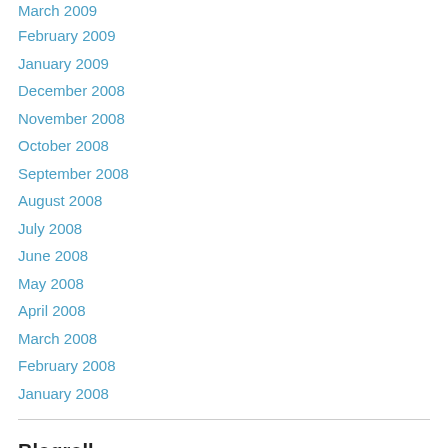March 2009
February 2009
January 2009
December 2008
November 2008
October 2008
September 2008
August 2008
July 2008
June 2008
May 2008
April 2008
March 2008
February 2008
January 2008
Blogroll
American Wild Horse Campaign
Billie's blog for Little Book Cliffs Wild Horse Range